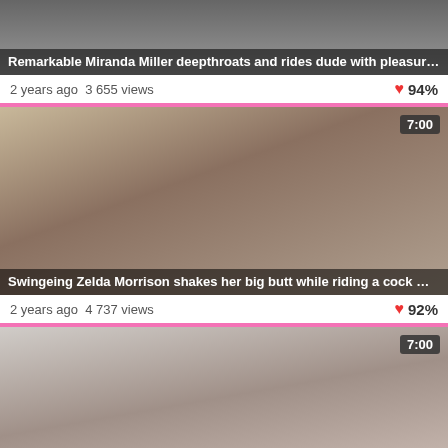[Figure (screenshot): Video thumbnail for Miranda Miller video, cropped at top]
Remarkable Miranda Miller deepthroats and rides dude with pleasure
2 years ago  3 655 views   ❤ 94%
[Figure (screenshot): Video thumbnail showing Zelda Morrison scene, 7:00 duration badge]
Swingeing Zelda Morrison shakes her big butt while riding a cock
2 years ago  4 737 views   ❤ 92%
[Figure (screenshot): Video thumbnail showing third video scene, 7:00 duration badge]